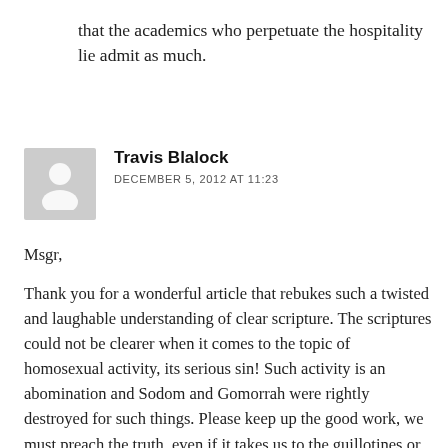that the academics who perpetuate the hospitality lie admit as much.
Travis Blalock
DECEMBER 5, 2012 AT 11:23
Msgr,
Thank you for a wonderful article that rebukes such a twisted and laughable understanding of clear scripture. The scriptures could not be clearer when it comes to the topic of homosexual activity, its serious sin! Such activity is an abomination and Sodom and Gomorrah were rightly destroyed for such things. Please keep up the good work, we must preach the truth, even if it takes us to the guillotines or